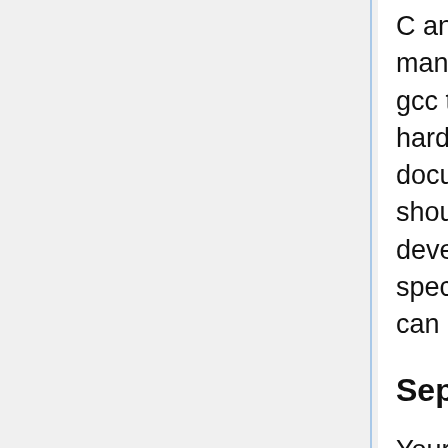C and C++ code can be crossed compiled onto many systems, so chances are if you can target gcc to run on it, you can write a kernel for it. Some hardware will be easier and more thoroughly documented than others, but in any case, you should fully understand the system in which you're developing for, and read all it's manuals and specifications. Once you feel confident with it, you can begin.
Separate Sources
Your kernel will have functions that contain what is called generic and targeted code. For example: a puts() implementation will be generic, while the screen driver that puts() uses to draw the string to the output device would be targeted to a specific implementation. Before you begin trying to code for more than one platform, separate your sources so any targeted functions are in a different location than generics. This creates an abstraction layer between